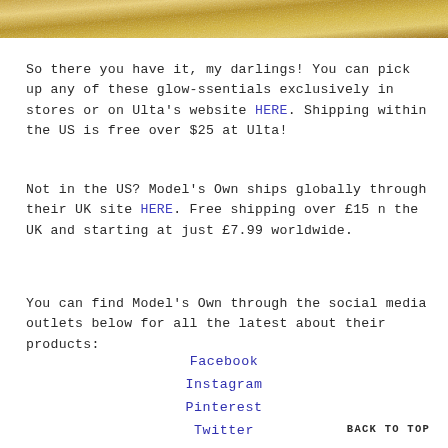[Figure (photo): Gold/metallic textured background image cropped at top of page]
So there you have it, my darlings! You can pick up any of these glow-ssentials exclusively in stores or on Ulta's website HERE. Shipping within the US is free over $25 at Ulta!
Not in the US? Model's Own ships globally through their UK site HERE. Free shipping over £15 n the UK and starting at just £7.99 worldwide.
You can find Model's Own through the social media outlets below for all the latest about their products:
Facebook
Instagram
Pinterest
Twitter
Website
BACK TO TOP